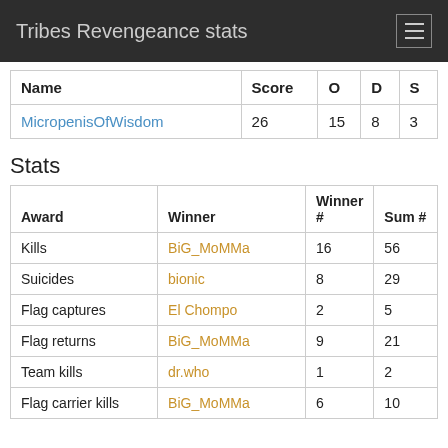Tribes Revengeance stats
| Name | Score | O | D | S |
| --- | --- | --- | --- | --- |
| MicropenisOfWisdom | 26 | 15 | 8 | 3 |
Stats
| Award | Winner | Winner # | Sum # |
| --- | --- | --- | --- |
| Kills | BiG_MoMMa | 16 | 56 |
| Suicides | bionic | 8 | 29 |
| Flag captures | El Chompo | 2 | 5 |
| Flag returns | BiG_MoMMa | 9 | 21 |
| Team kills | dr.who | 1 | 2 |
| Flag carrier kills | BiG_MoMMa | 6 | 10 |